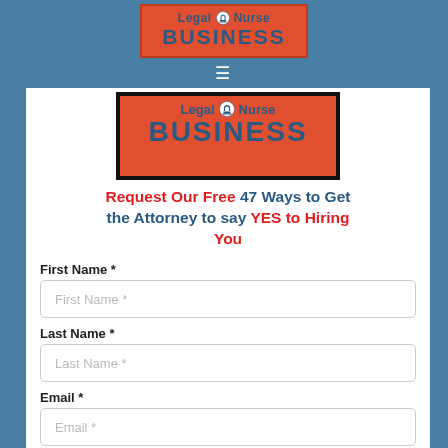Legal Nurse BUSINESS
[Figure (logo): Legal Nurse BUSINESS logo on red/orange background, partially visible]
Request Our Free 47 Ways to Get the Attorney to say YES to Hiring You
First Name *
Last Name *
Email *